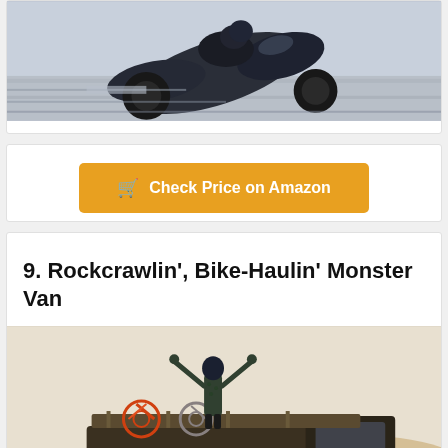[Figure (photo): Close-up action photo of a motorcycle leaning into a turn on a racetrack, blurred background suggesting high speed]
[Figure (infographic): Orange button with shopping cart icon reading 'Check Price on Amazon']
9. Rockcrawlin', Bike-Haulin' Monster Van
[Figure (photo): Person standing on top of a monster van with arms raised, wearing a helmet, with bicycles loaded on the van and dust around it. A banner reads 'Dirty...' visible at the bottom.]